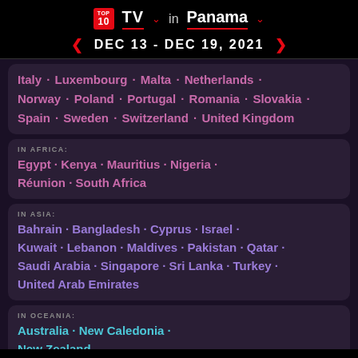TOP 10 TV in Panama
DEC 13 - DEC 19, 2021
Italy · Luxembourg · Malta · Netherlands · Norway · Poland · Portugal · Romania · Slovakia · Spain · Sweden · Switzerland · United Kingdom
IN AFRICA: Egypt · Kenya · Mauritius · Nigeria · Réunion · South Africa
IN ASIA: Bahrain · Bangladesh · Cyprus · Israel · Kuwait · Lebanon · Maldives · Pakistan · Qatar · Saudi Arabia · Singapore · Sri Lanka · Turkey · United Arab Emirates
IN OCEANIA: Australia · New Caledonia · New Zealand